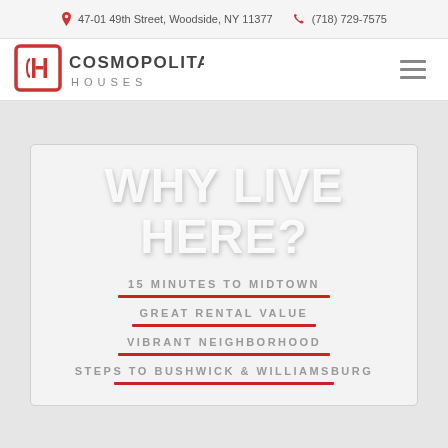47-01 49th Street, Woodside, NY 11377  (718) 729-7575
[Figure (logo): Cosmopolitan Houses logo — stylized CH monogram in red with 'COSMOPOLITAN HOUSES' text in dark gray]
WHY LIVE HERE?
15 MINUTES TO MIDTOWN
GREAT RENTAL VALUE
VIBRANT NEIGHBORHOOD
STEPS TO BUSHWICK & WILLIAMSBURG